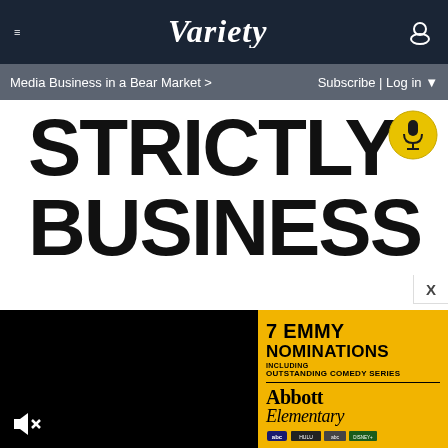≡  VARIETY  👤
Media Business in a Bear Market >  Subscribe | Log in ▼
STRICTLY BUSINESS
[Figure (other): Podcast microphone icon in yellow circle]
[Figure (other): Black video player area with mute icon]
[Figure (other): Abbott Elementary advertisement: 7 EMMY NOMINATIONS INCLUDING OUTSTANDING COMEDY SERIES, Abbott Elementary logo on yellow background with network logos]